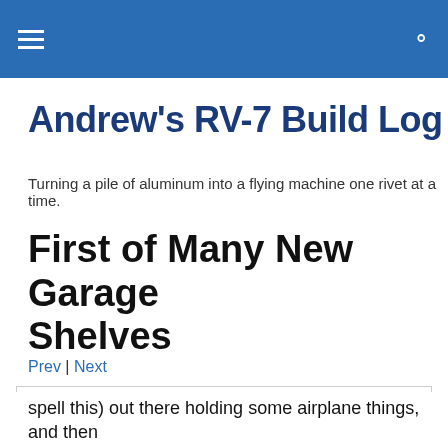Andrew's RV-7 Build Log [navigation header bar with hamburger menu and search icon]
Andrew's RV-7 Build Log
Turning a pile of aluminum into a flying machine one rivet at a time.
First of Many New Garage Shelves
Prev | Next
Privacy & Cookies: This site uses cookies. By continuing to use this website, you agree to their use.
To find out more, including how to control cookies, see here: Cookie Policy
[Close and accept button]
spell this) out there holding some airplane things, and then